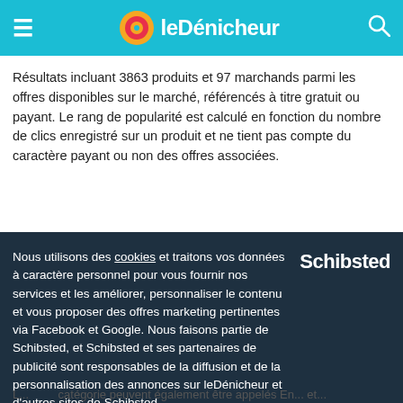leDénicheur
Résultats incluant 3863 produits et 97 marchands parmi les offres disponibles sur le marché, référencés à titre gratuit ou payant. Le rang de popularité est calculé en fonction du nombre de clics enregistré sur un produit et ne tient pas compte du caractère payant ou non des offres associées.
Nous utilisons des cookies et traitons vos données à caractère personnel pour vous fournir nos services et les améliorer, personnaliser le contenu et vous proposer des offres marketing pertinentes via Facebook et Google. Nous faisons partie de Schibsted, et Schibsted et ses partenaires de publicité sont responsables de la diffusion et de la personnalisation des annonces sur leDénicheur et d'autres sites de Schibsted.
Accepter    Refuser tout    Mes options